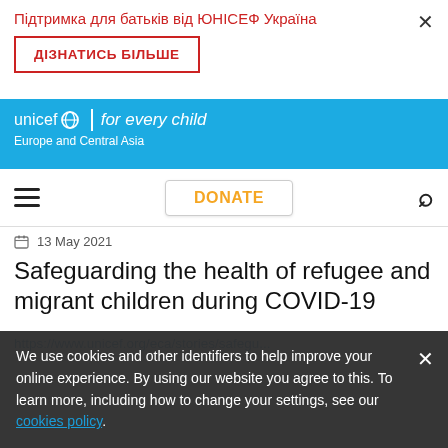Підтримка для батьків від ЮНІСЕФ Україна
[Figure (screenshot): UNICEF Ukraine notification banner with Ukrainian text, a 'ДІЗНАТИСЬ БІЛЬШЕ' button with red border, and a close (×) button]
[Figure (logo): UNICEF logo: unicef globe icon | for every child — Europe and Central Asia, white text on blue background]
[Figure (screenshot): Navigation bar with hamburger menu, DONATE button in orange, and search icon]
13 May 2021
Safeguarding the health of refugee and migrant children during COVID-19
https://www.unicef.org/eca/stories/safegu...
We use cookies and other identifiers to help improve your online experience. By using our website you agree to this. To learn more, including how to change your settings, see our cookies policy.